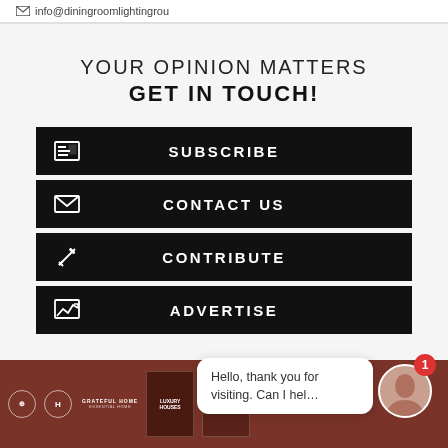info@diningroomlightingrou
YOUR OPINION MATTERS
GET IN TOUCH!
SUBSCRIBE
CONTACT US
CONTRIBUTE
ADVERTISE
[Figure (screenshot): Footer bar with magazine logos, chat bubble saying 'Hello, thank you for visiting. Can I hel...' and avatar with notification badge showing 1]
Hello, thank you for visiting. Can I hel…